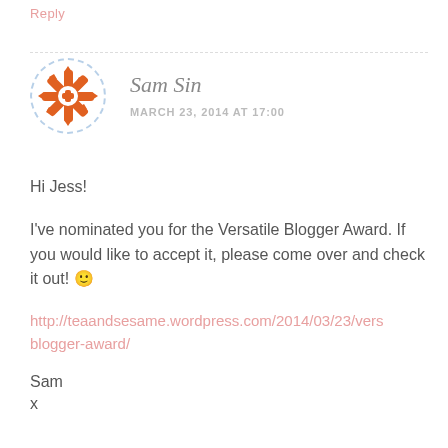Reply
[Figure (illustration): Circular avatar with orange snowflake/cross pattern on white background, surrounded by a dashed blue circular border]
Sam Sin
MARCH 23, 2014 AT 17:00
Hi Jess!
I've nominated you for the Versatile Blogger Award. If you would like to accept it, please come over and check it out! 🙂
http://teaandsesame.wordpress.com/2014/03/23/vers blogger-award/
Sam
x